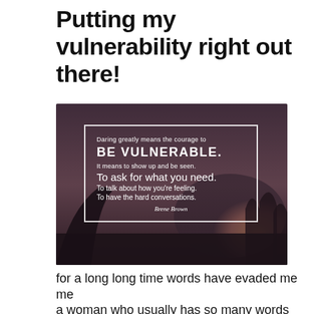Putting my vulnerability right out there!
[Figure (photo): A motivational quote image with a dark atmospheric background (person in a car at sunset). A white-bordered box contains: 'Daring greatly means the courage to BE VULNERABLE. It means to show up and be seen. To ask for what you need. To talk about how you're feeling. To have the hard conversations.' attributed to Brene Brown.]
for a long long time words have evaded me
me
a woman who usually has so many words